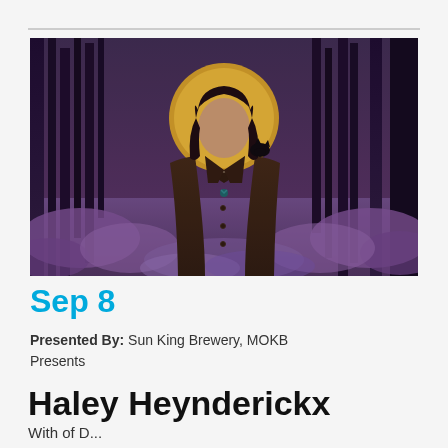[Figure (photo): A young woman with long dark hair stands in front of dark trees with purple undergrowth. Behind her head is a large golden yellow circle resembling a halo or moon. She wears a dark brown coat.]
Sep 8
Presented By: Sun King Brewery, MOKB Presents
Haley Heynderickx
With of D...